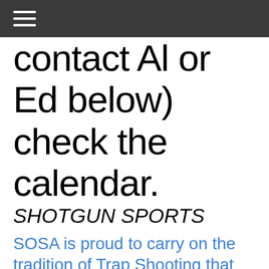contact Al or Ed below) check the calendar.
SHOTGUN SPORTS
SOSA is proud to carry on the tradition of Trap Shooting that started here back in the "60's". We have 2 ranges equipped with the